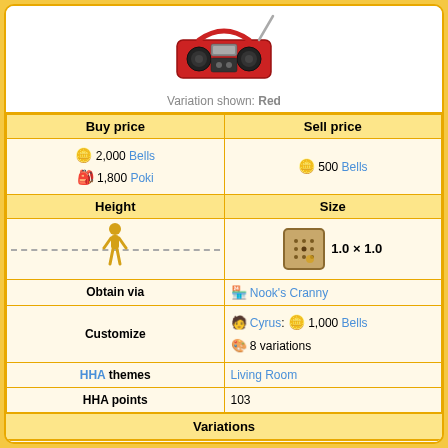[Figure (illustration): Red boombox/radio illustration]
Variation shown: Red
| Buy price | Sell price |
| --- | --- |
| 🪙 2,000 Bells
🎒 1,800 Poki | 🪙 500 Bells |
| Height | Size |
| [character height indicator with dotted line] | [grid icon] 1.0 × 1.0 |
| Obtain via | 🏪 Nook's Cranny |
| Customize | 🧑 Cyrus: 🪙 1,000 Bells
🎨 8 variations |
| HHA themes | Living Room |
| HHA points | 103 |
Variations
[Figure (illustration): Row of 8 small boombox color variations: red, yellow/gold, green, blue, pink, light gray, dark gray, black]